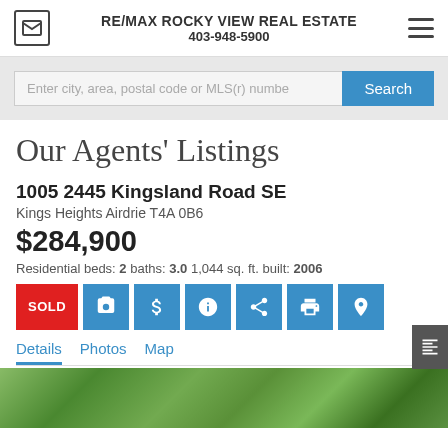RE/MAX ROCKY VIEW REAL ESTATE 403-948-5900
Enter city, area, postal code or MLS(r) numbe
Our Agents' Listings
1005 2445 Kingsland Road SE
Kings Heights Airdrie T4A 0B6
$284,900
Residential beds: 2 baths: 3.0 1,044 sq. ft. built: 2006
SOLD
Details  Photos  Map
[Figure (photo): Exterior photo of the listed property showing rooftop and surrounding trees]